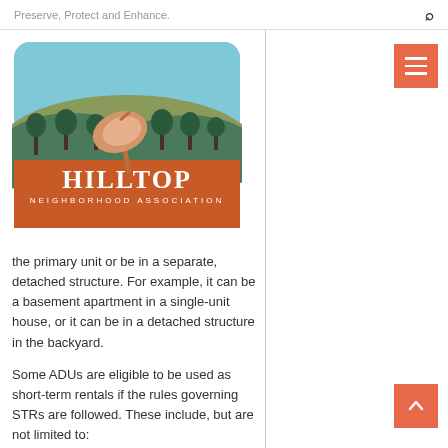Preserve, Protect and Enhance.
[Figure (logo): Hilltop Neighborhood Association logo: orange rounded rectangle with illustrated hills, trees and a satellite dish; white text reading HILLTOP NEIGHBORHOOD ASSOCIATION]
the primary unit or be in a separate, detached structure. For example, it can be a basement apartment in a single-unit house, or it can be in a detached structure in the backyard.
Some ADUs are eligible to be used as short-term rentals if the rules governing STRs are followed. These include, but are not limited to: